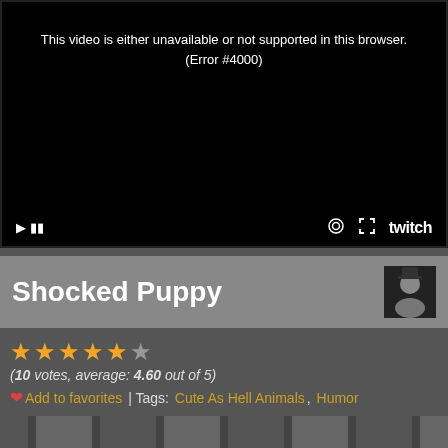[Figure (screenshot): A black video player screen showing a Twitch embed with an error message: 'This video is either unavailable or not supported in this browser. (Error #4000)'. Controls are visible at the bottom including play, settings, fullscreen icons, and the Twitch logo.]
Shocked Puppy
(10 votes, average: 4.60 out of 5)
❤ Add to favorites | Tags: Cute As Hell Animals, Humor